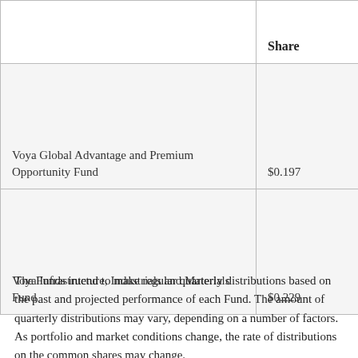|  | Share |
| --- | --- |
| Voya Global Advantage and Premium Opportunity Fund | $0.197 |
| Voya Infrastructure, Industrials and Materials Fund | $0.229 |
The Funds intend to make regular quarterly distributions based on the past and projected performance of each Fund. The amount of quarterly distributions may vary, depending on a number of factors. As portfolio and market conditions change, the rate of distributions on the common shares may change.